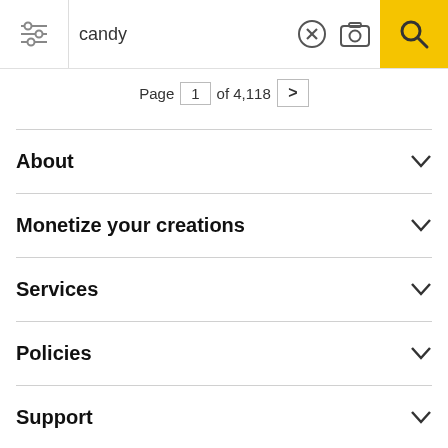[Figure (screenshot): Search bar with filter/sliders icon on left, 'candy' text input, X clear button, camera icon, and yellow search button with magnifying glass on right]
Page 1 of 4,118 >
About
Monetize your creations
Services
Policies
Support
[Figure (illustration): Social media icons row: Discord, Facebook, Twitter, Instagram, Pinterest, WhatsApp]
All rights reserved. © Inmagine Lab Pte Ltd 2022.